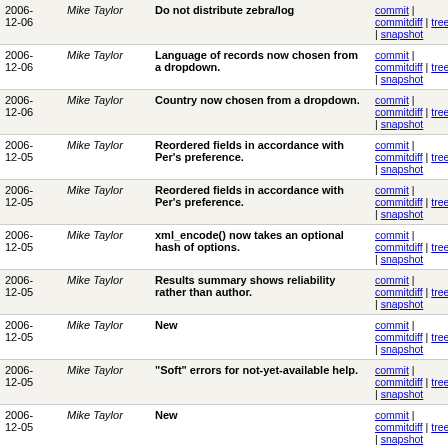| Date | Author | Message | Links |
| --- | --- | --- | --- |
| 2006-12-06 | Mike Taylor | Do not distribute zebra/log | commit | commitdiff | tree | snapshot |
| 2006-12-06 | Mike Taylor | Language of records now chosen from a dropdown. | commit | commitdiff | tree | snapshot |
| 2006-12-06 | Mike Taylor | Country now chosen from a dropdown. | commit | commitdiff | tree | snapshot |
| 2006-12-05 | Mike Taylor | Reordered fields in accordance with Per's preference. | commit | commitdiff | tree | snapshot |
| 2006-12-05 | Mike Taylor | Reordered fields in accordance with Per's preference. | commit | commitdiff | tree | snapshot |
| 2006-12-05 | Mike Taylor | xml_encode() now takes an optional hash of options. | commit | commitdiff | tree | snapshot |
| 2006-12-05 | Mike Taylor | Results summary shows reliability rather than author. | commit | commitdiff | tree | snapshot |
| 2006-12-05 | Mike Taylor | New | commit | commitdiff | tree | snapshot |
| 2006-12-05 | Mike Taylor | "Soft" errors for not-yet-available help. | commit | commitdiff | tree | snapshot |
| 2006-12-05 | Mike Taylor | New | commit | commitdiff | tree | snapshot |
| 2006-12-05 | Mike Taylor | Use HTML::Mason-level comment rather than HTML-level... | commit | commitdiff | tree | snapshot |
| 2006-12-05 | Mike Taylor | Use link image rather than styled text. | commit | commitdiff | tree | snapshot |
| 2006-12-05 | Mike Taylor | Add "help" links to all editable fields. | commit | commitdiff | tree | snapshot |